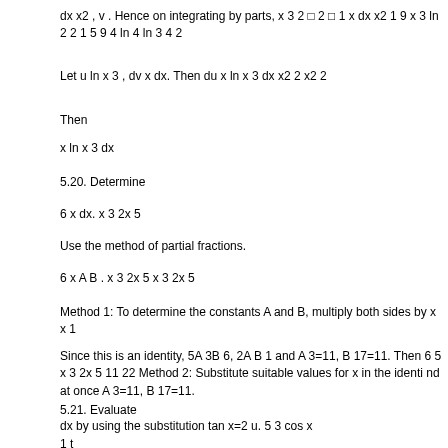dx x2 , v . Hence on integrating by parts, x 3 2 □ 2 □ 1 x dx x2 1 9 x 3 ln 2 2 1 5 9 4 ln 4 ln 3 4 2
Let u ln x 3 , dv x dx. Then du x ln x 3 dx x2 2 x2 2
Then
x ln x 3 dx
5.20. Determine
6 x dx. x 3 2x 5
Use the method of partial fractions.
6 x A B . x 3 2x 5 x 3 2x 5
Method 1: To determine the constants A and B, multiply both sides by x x 1
Since this is an identity, 5A 3B 6, 2A B 1 and A 3=11, B 17=11. Then 6 5 x 3 2x 5 11 22 Method 2: Substitute suitable values for x in the identi nd at once A 3=11, B 17=11.
5.21. Evaluate
dx by using the substitution tan x=2 u. 5 3 cos x
1 t